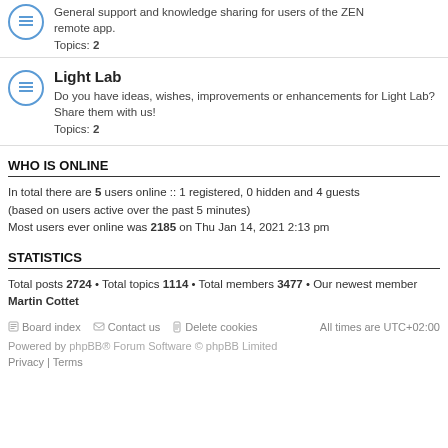General support and knowledge sharing for users of the ZEN remote app.
Topics: 2
Light Lab
Do you have ideas, wishes, improvements or enhancements for Light Lab? Share them with us!
Topics: 2
WHO IS ONLINE
In total there are 5 users online :: 1 registered, 0 hidden and 4 guests (based on users active over the past 5 minutes)
Most users ever online was 2185 on Thu Jan 14, 2021 2:13 pm
STATISTICS
Total posts 2724 • Total topics 1114 • Total members 3477 • Our newest member Martin Cottet
Board index   Contact us   Delete cookies   All times are UTC+02:00
Powered by phpBB® Forum Software © phpBB Limited
Privacy | Terms